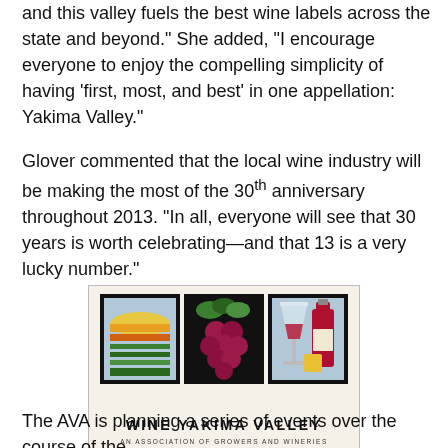and this valley fuels the best wine labels across the state and beyond." She added, “I encourage everyone to enjoy the compelling simplicity of having ‘first, most, and best’ in one appellation: Yakima Valley.”
Glover commented that the local wine industry will be making the most of the 30th anniversary throughout 2013. “In all, everyone will see that 30 years is worth celebrating—and that 13 is a very lucky number.”
[Figure (logo): Wine Yakima Valley logo featuring three panels: vineyard landscape, grape cluster, and wine glass/bottle. Text reads 'WINE YAKIMA VALLEY' and 'AN ASSOCIATION OF GROWERS AND WINERIES']
The AVA is planning a series of events over the course of the